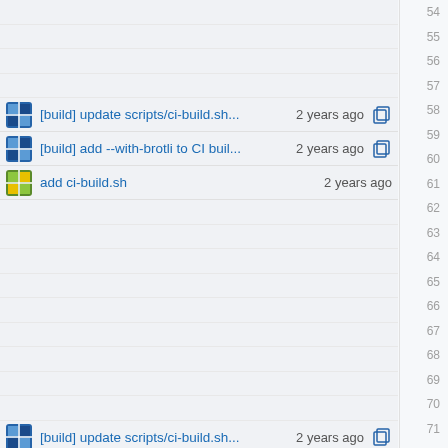[build] update scripts/ci-build.sh... 2 years ago  58
[build] add --with-brotli to CI buil...2 years ago  59
add ci-build.sh  2 years ago  60
[build] update scripts/ci-build.sh... 2 years ago  70
[build] scripts/ci-build.sh --with-... 2 years ago  71
add ci-build.sh  2 years ago  72